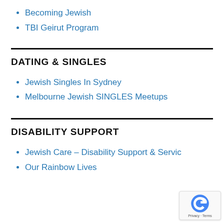Becoming Jewish
TBI Geirut Program
DATING & SINGLES
Jewish Singles In Sydney
Melbourne Jewish SINGLES Meetups
DISABILITY SUPPORT
Jewish Care – Disability Support & Servic…
Our Rainbow Lives